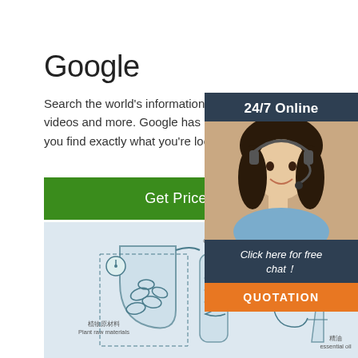Google
Search the world's information, including webpages, images, videos and more. Google has many special features to help you find exactly what you're looking for.
[Figure (other): Green 'Get Price' button]
[Figure (other): Right side panel showing '24/7 Online' header, photo of a customer service agent wearing a headset, 'Click here for free chat!' text in dark box, and an orange 'QUOTATION' button]
[Figure (engineering-diagram): Industrial process diagram with Chinese and English labels: 植物原材料 / Plant raw materials, 冷却管 / Cooling pipe, 散热管 / Radiator tube, 精油 / essential oil, and a 'TOP' logo with orange droplet icon]